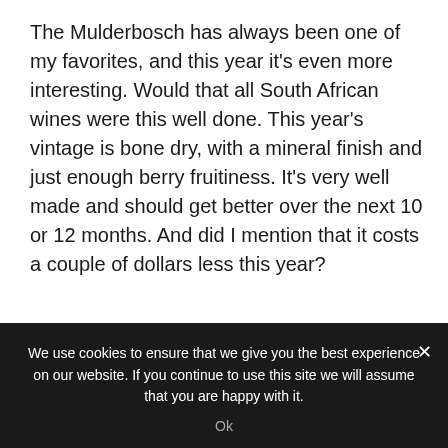The Mulderbosch has always been one of my favorites, and this year it's even more interesting. Would that all South African wines were this well done. This year's vintage is bone dry, with a mineral finish and just enough berry fruitiness. It's very well made and should get better over the next 10 or 12 months. And did I mention that it costs a couple of dollars less this year?
We use cookies to ensure that we give you the best experience on our website. If you continue to use this site we will assume that you are happy with it.
Ok